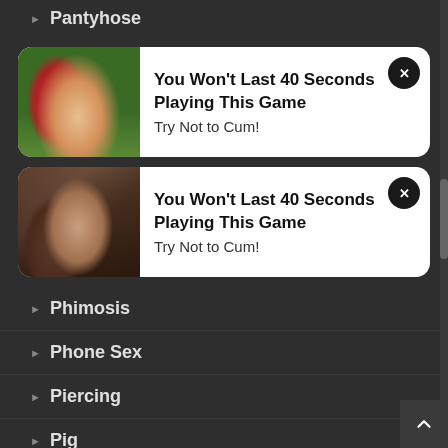Pantyhose
[Figure (photo): Advertisement card with couple outdoors. Title: You Won't Last 40 Seconds Playing This Game. Subtitle: Try Not to Cum!]
[Figure (photo): Advertisement card with couple at door. Title: You Won't Last 40 Seconds Playing This Game. Subtitle: Try Not to Cum!]
Phimosis
Phone Sex
Piercing
Pig
Pig Girl
Pig Man